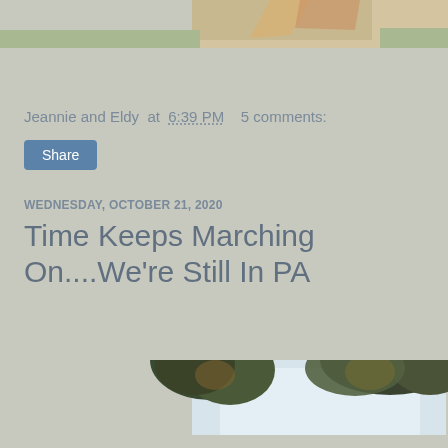[Figure (photo): Partial view of a quilt or fabric on grass, cropped at top of page]
Jeannie and Eldy at 6:39 PM   5 comments:
Share
WEDNESDAY, OCTOBER 21, 2020
Time Keeps Marching On....We're Still In PA
[Figure (photo): Outdoor photo looking up through autumn tree branches at a pale sky]